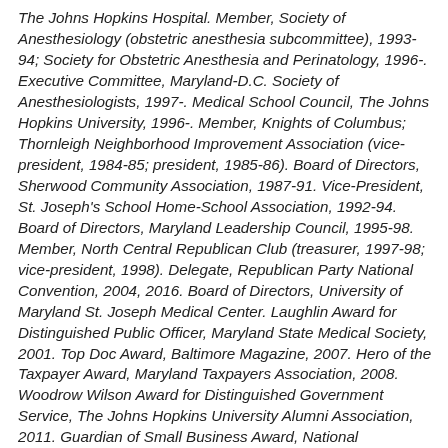The Johns Hopkins Hospital. Member, Society of Anesthesiology (obstetric anesthesia subcommittee), 1993-94; Society for Obstetric Anesthesia and Perinatology, 1996-. Executive Committee, Maryland-D.C. Society of Anesthesiologists, 1997-. Medical School Council, The Johns Hopkins University, 1996-. Member, Knights of Columbus; Thornleigh Neighborhood Improvement Association (vice-president, 1984-85; president, 1985-86). Board of Directors, Sherwood Community Association, 1987-91. Vice-President, St. Joseph's School Home-School Association, 1992-94. Board of Directors, Maryland Leadership Council, 1995-98. Member, North Central Republican Club (treasurer, 1997-98; vice-president, 1998). Delegate, Republican Party National Convention, 2004, 2016. Board of Directors, University of Maryland St. Joseph Medical Center. Laughlin Award for Distinguished Public Officer, Maryland State Medical Society, 2001. Top Doc Award, Baltimore Magazine, 2007. Hero of the Taxpayer Award, Maryland Taxpayers Association, 2008. Woodrow Wilson Award for Distinguished Government Service, The Johns Hopkins University Alumni Association, 2011. Guardian of Small Business Award, National Federation of Independent Business, 2012. Manufacturing Legislative